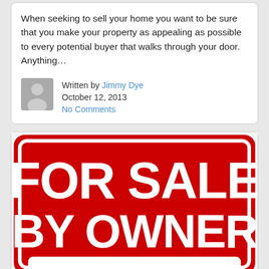When seeking to sell your home you want to be sure that you make your property as appealing as possible to every potential buyer that walks through your door. Anything…
Written by Jimmy Dye
October 12, 2013
No Comments
[Figure (illustration): A red 'FOR SALE BY OWNER' sign with white bold text and a white border, partially cropped at the bottom showing a blank section.]